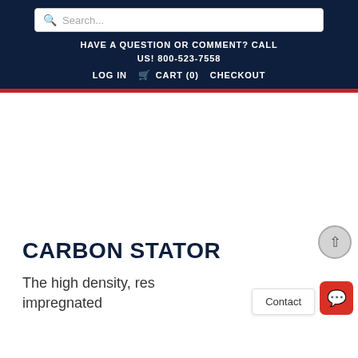HAVE A QUESTION OR COMMENT? CALL US! 800-523-7558 | LOG IN | CART (0) | CHECKOUT
CARBON STATOR
The high density, res... impregnated